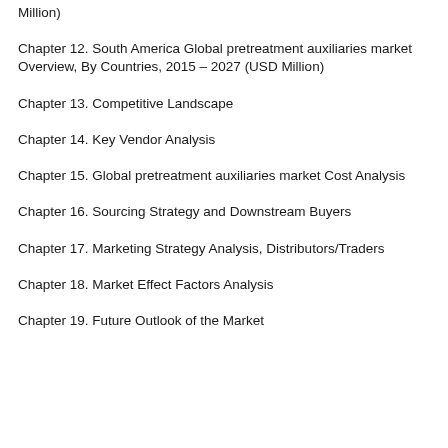Million)
Chapter 12. South America Global pretreatment auxiliaries market Overview, By Countries, 2015 – 2027 (USD Million)
Chapter 13. Competitive Landscape
Chapter 14. Key Vendor Analysis
Chapter 15. Global pretreatment auxiliaries market Cost Analysis
Chapter 16. Sourcing Strategy and Downstream Buyers
Chapter 17. Marketing Strategy Analysis, Distributors/Traders
Chapter 18. Market Effect Factors Analysis
Chapter 19. Future Outlook of the Market